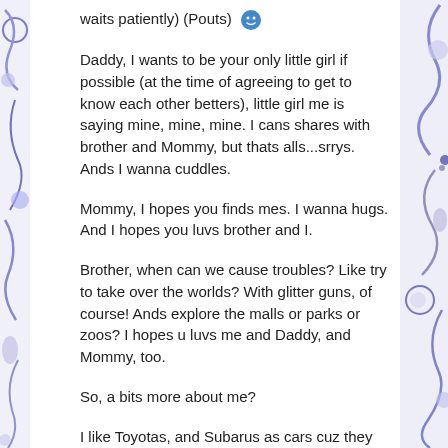waits patiently) (Pouts) 😊
Daddy, I wants to be your only little girl if possible (at the time of agreeing to get to know each other betters), little girl me is saying mine, mine, mine. I cans shares with brother and Mommy, but thats alls...srrys. Ands I wanna cuddles.
Mommy, I hopes you finds mes. I wanna hugs. And I hopes you luvs brother and I.
Brother, when can we cause troubles? Like try to take over the worlds? With glitter guns, of course! Ands explore the malls or parks or zoos? I hopes u luvs me and Daddy, and Mommy, too.
So, a bits more about me?
I like Toyotas, and Subarus as cars cuz they nice and last close to forever if you don't touch the electrical, or if you make sure theres oil in the oil gauge, like not forgetting to put oil back in when you took it outs. (I think about my brothers who